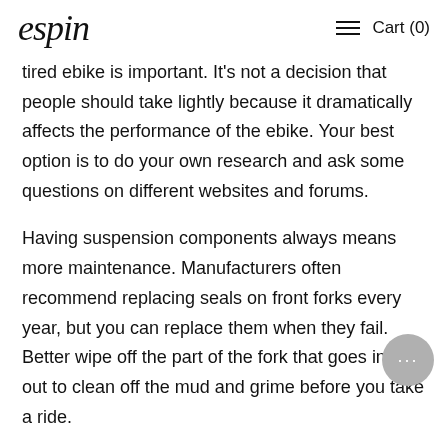espin  Cart (0)
tired ebike is important. It's not a decision that people should take lightly because it dramatically affects the performance of the ebike. Your best option is to do your own research and ask some questions on different websites and forums.
Having suspension components always means more maintenance. Manufacturers often recommend replacing seals on front forks every year, but you can replace them when they fail. Better wipe off the part of the fork that goes in and out to clean off the mud and grime before you take a ride.
If you want to jump in the air with an ebike, choosing a fat bike without suspension is not the best choice. You will tend to bounce when you land. You need to at least have a front suspension fork for better control.